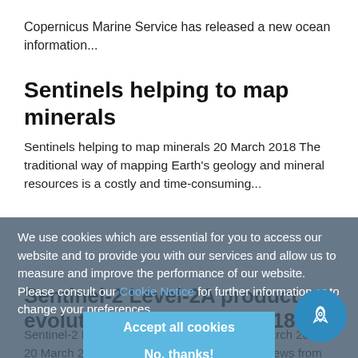Copernicus Marine Service has released a new ocean information...
Sentinels helping to map minerals
Sentinels helping to map minerals 20 March 2018 The traditional way of mapping Earth's geology and mineral resources is a costly and time-consuming...
Sentinel-2 Level-2A product evolution on 26 March 2018
Sentinel-2 Level-2A product evolution on 26 March 2018 20 March 2018 As anticipated in the previous news from 02 March - 'Upcoming Sentinel-2 Level-2A...
We use cookies which are essential for you to access our website and to provide you with our services and allow us to measure and improve the performance of our website. Please consult our Cookie Notice for further information or to change your preferences.